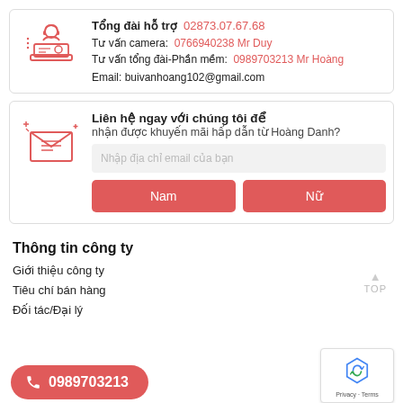[Figure (illustration): Red outline illustration of a customer support agent with headset at a laptop]
Tổng đài hỗ trợ  02873.07.67.68
Tư vấn camera:  0766940238 Mr Duy
Tư vấn tổng đài-Phần mềm:  0989703213 Mr Hoàng
Email: buivanhoang102@gmail.com
[Figure (illustration): Red outline illustration of an open envelope with a letter]
Liên hệ ngay với chúng tôi để nhận được khuyến mãi hấp dẫn từ Hoàng Danh?
Nhập địa chỉ email của bạn
Nam
Nữ
Thông tin công ty
Giới thiệu công ty
Tiêu chí bán hàng
Đối tác/Đại lý
0989703213